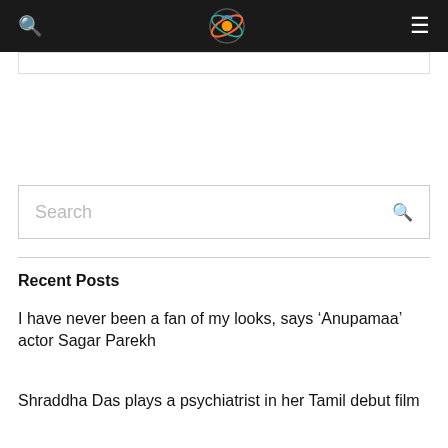Navigation bar with search icon, logo, and hamburger menu
[Figure (screenshot): Empty white box with thin border below nav bar]
[Figure (screenshot): Search input box with placeholder text 'Search' and a search icon on the right]
Recent Posts
I have never been a fan of my looks, says 'Anupamaa' actor Sagar Parekh
Shraddha Das plays a psychiatrist in her Tamil debut film